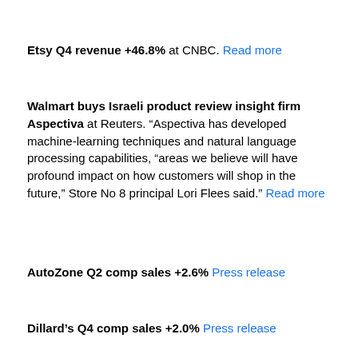Etsy Q4 revenue +46.8% at CNBC. Read more
Walmart buys Israeli product review insight firm Aspectiva at Reuters. “Aspectiva has developed machine-learning techniques and natural language processing capabilities, “areas we believe will have profound impact on how customers will shop in the future,” Store No 8 principal Lori Flees said.” Read more
AutoZone Q2 comp sales +2.6% Press release
Dillard’s Q4 comp sales +2.0% Press release